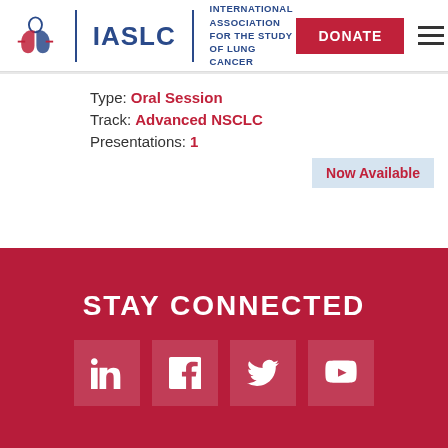IASLC | INTERNATIONAL ASSOCIATION FOR THE STUDY OF LUNG CANCER
Type: Oral Session
Track: Advanced NSCLC
Presentations: 1
Now Available
STAY CONNECTED